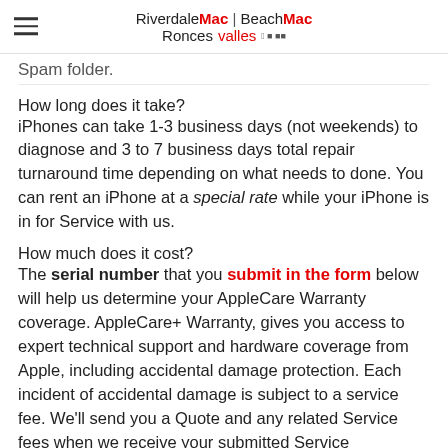RiverdaleMac | BeachMac Roncesvalles
Spam folder.
How long does it take?
iPhones can take 1-3 business days (not weekends) to diagnose and 3 to 7 business days total repair turnaround time depending on what needs to done. You can rent an iPhone at a special rate while your iPhone is in for Service with us.
How much does it cost?
The serial number that you submit in the form below will help us determine your AppleCare Warranty coverage. AppleCare+ Warranty, gives you access to expert technical support and hardware coverage from Apple, including accidental damage protection. Each incident of accidental damage is subject to a service fee. We'll send you a Quote and any related Service fees when we receive your submitted Service